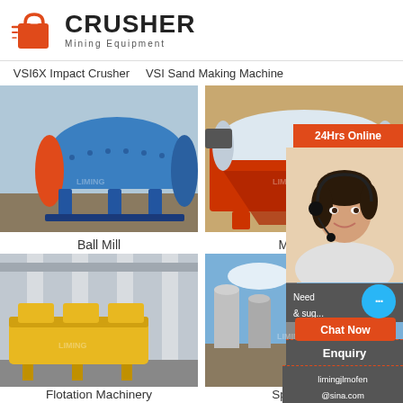[Figure (logo): CRUSHER Mining Equipment logo with red shopping bag icon and bold text]
VSI6X Impact Crusher
VSI Sand Making Machine
[Figure (photo): Blue ball mill machine on a concrete surface outdoors]
[Figure (photo): Orange/red magnetic separator machine in industrial setting]
Ball Mill
Magnetic
[Figure (photo): Yellow flotation machinery in a large industrial warehouse]
[Figure (photo): Spiral chute equipment at an outdoor industrial facility]
Flotation Machinery
Spiral chute
[Figure (infographic): 24Hrs Online customer service panel with agent photo, chat now button, enquiry link, and email limingjlmofen@sina.com]